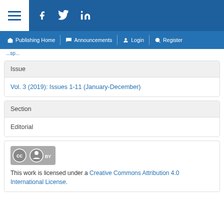Navigation bar with hamburger menu, Facebook, Twitter, LinkedIn icons and Publishing Home, Announcements, Login, Register links
Issue
Vol. 3 (2019): Issues 1-11 (January-December)
Section
Editorial
This work is licensed under a Creative Commons Attribution 4.0 International License.